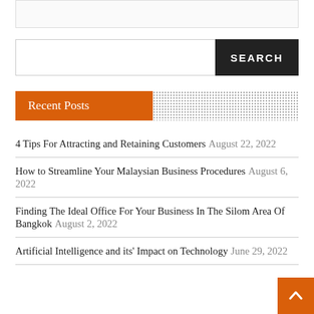[Figure (screenshot): Partial top box with orange element at top center, partially visible]
SEARCH
Recent Posts
4 Tips For Attracting and Retaining Customers  August 22, 2022
How to Streamline Your Malaysian Business Procedures  August 6, 2022
Finding The Ideal Office For Your Business In The Silom Area Of Bangkok  August 2, 2022
Artificial Intelligence and its' Impact on Technology  June 29, 2022